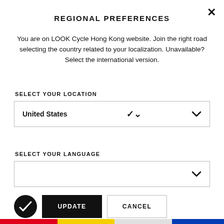REGIONAL PREFERENCES
You are on LOOK Cycle Hong Kong website. Join the right road selecting the country related to your localization. Unavailable? Select the international version.
SELECT YOUR LOCATION
United States
SELECT YOUR LANGUAGE
UPDATE
CANCEL